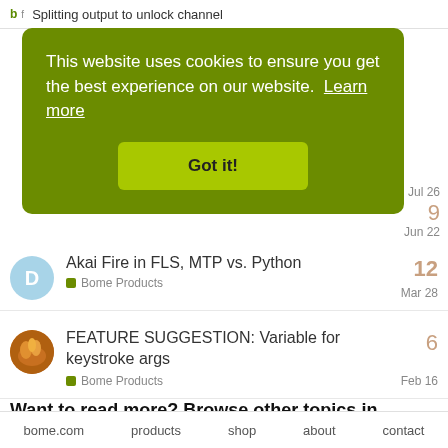Splitting output to unlock channel
[Figure (screenshot): Cookie consent banner overlay on green background with text 'This website uses cookies to ensure you get the best experience on our website. Learn more' and a 'Got it!' button]
Akai Fire in FLS, MTP vs. Python — Bome Products — Mar 28 — 12 replies
FEATURE SUGGESTION: Variable for keystroke args — Bome Products — Feb 16 — 6 replies
Want to read more? Browse other topics in
Bome Products or view latest topics.
bome.com   products   shop   about   contact